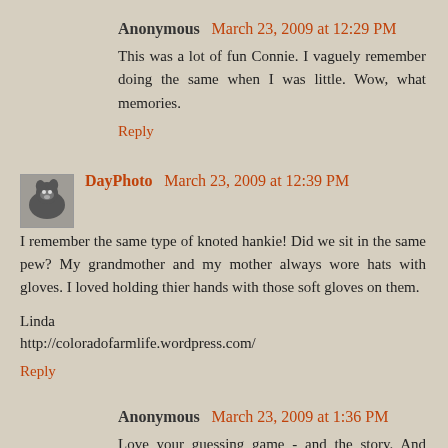Anonymous March 23, 2009 at 12:29 PM
This was a lot of fun Connie. I vaguely remember doing the same when I was little. Wow, what memories.
Reply
DayPhoto March 23, 2009 at 12:39 PM
I remember the same type of knoted hankie! Did we sit in the same pew? My grandmother and my mother always wore hats with gloves. I loved holding thier hands with those soft gloves on them.

Linda
http://coloradofarmlife.wordpress.com/
Reply
Anonymous March 23, 2009 at 1:36 PM
Love your guessing game - and the story. And what a